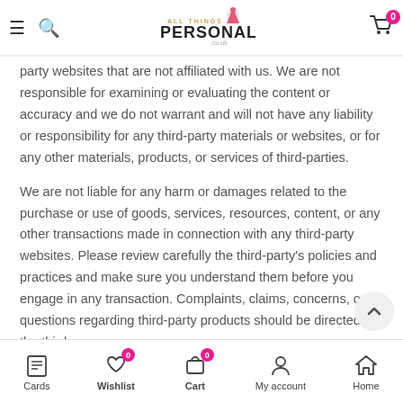All Things Personal - navigation header with logo, search, cart
party websites that are not affiliated with us. We are not responsible for examining or evaluating the content or accuracy and we do not warrant and will not have any liability or responsibility for any third-party materials or websites, or for any other materials, products, or services of third-parties.
We are not liable for any harm or damages related to the purchase or use of goods, services, resources, content, or any other transactions made in connection with any third-party websites. Please review carefully the third-party's policies and practices and make sure you understand them before you engage in any transaction. Complaints, claims, concerns, or questions regarding third-party products should be directed to the third-
Cards | Wishlist 0 | Cart 0 | My account | Home